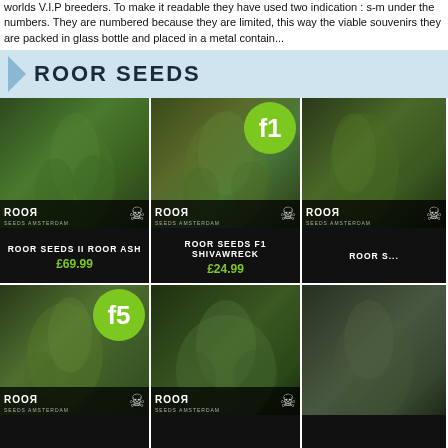worlds V.I.P breeders. To make it readable they have used two indication : s-m under the numbers. They are numbered because they are limited, this way the viable souvenirs they are packed in glass bottle and placed in a metal contain...
ROOR SEEDS
[Figure (photo): Cannabis plant close-up photo with ROOR Seeds Amsterdam logo, product: ROOR SEEDS II ROOR ASH, price £69.99]
[Figure (photo): Cannabis plant close-up photo with f1 badge and ROOR Seeds Amsterdam logo, product: ROOR SEEDS F1 SHIVAWRECK, price £24.99]
[Figure (photo): Cannabis plant close-up photo, partially cropped, ROOR Seeds Amsterdam logo visible]
[Figure (photo): Cannabis plant close-up photo with f5 badge and ROOR Seeds Amsterdam logo]
[Figure (photo): Cannabis plant outdoor photo, ROOR Seeds Amsterdam logo]
[Figure (photo): Cannabis plant photo, partially cropped]